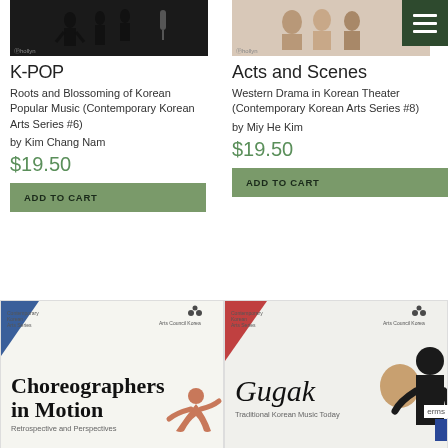[Figure (photo): Dark book cover photo for K-POP, silhouette figures on dark background]
[Figure (photo): Book cover photo for Acts and Scenes, people on stage]
[Figure (illustration): Dark green hamburger menu button with three white lines]
K-POP
Roots and Blossoming of Korean Popular Music (Contemporary Korean Arts Series #6)
by Kim Chang Nam
$19.50
ADD TO CART
Acts and Scenes
Western Drama in Korean Theater (Contemporary Korean Arts Series #8)
by Miy He Kim
$19.50
ADD TO CART
[Figure (photo): Choreographers in Motion book cover - white background with title text and dancer silhouette, subtitle Retrospective and Perspectives]
[Figure (photo): Gugak Traditional Korean Music Today book cover with person smiling and silhouette figure]